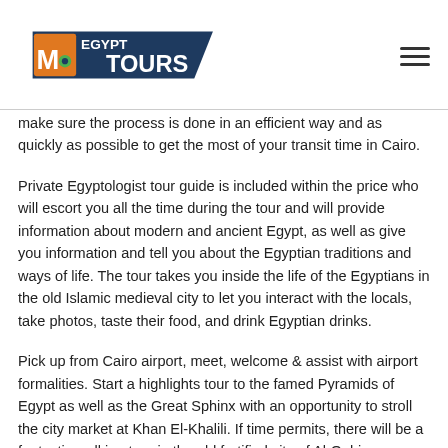Egypt Mo Tours
make sure the process is done in an efficient way and as quickly as possible to get the most of your transit time in Cairo.
Private Egyptologist tour guide is included within the price who will escort you all the time during the tour and will provide information about modern and ancient Egypt, as well as give you information and tell you about the Egyptian traditions and ways of life. The tour takes you inside the life of the Egyptians in the old Islamic medieval city to let you interact with the locals, take photos, taste their food, and drink Egyptian drinks.
Pick up from Cairo airport, meet, welcome & assist with airport formalities. Start a highlights tour to the famed Pyramids of Egypt as well as the Great Sphinx with an opportunity to stroll the city market at Khan El-Khalili. If time permits, there will be a fantastic walking tour in the old fortified city of Al-Qahira. Transfer you back